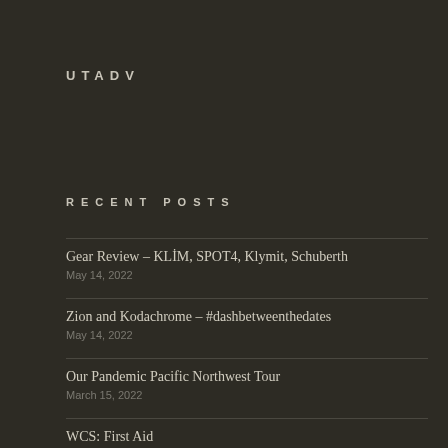UTADV
RECENT POSTS
Gear Review – KLİM, SPOT4, Klymit, Schuberth
May 14, 2022
Zion and Kodachrome – #dashbetweenthedates
May 14, 2022
Our Pandemic Pacific Northwest Tour
March 15, 2022
WCS: First Aid